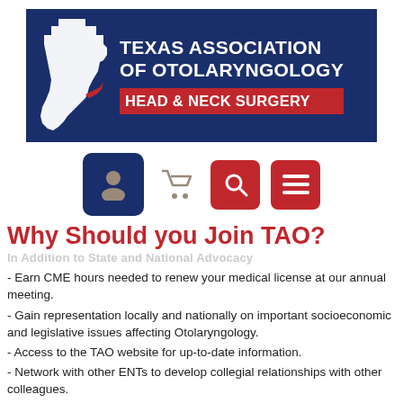[Figure (logo): Texas Association of Otolaryngology Head & Neck Surgery banner logo with Texas state shape and red strip]
[Figure (screenshot): Navigation icons: dark blue user/person icon button, grey shopping cart icon, red search icon button, red menu/hamburger icon button]
Why Should you Join TAO?
- Earn CME hours needed to renew your medical license at our annual meeting.
- Gain representation locally and nationally on important socioeconomic and legislative issues affecting Otolaryngology.
- Access to the TAO website for up-to-date information.
- Network with other ENTs to develop collegial relationships with other colleagues.
- A way to communicate your concerns to your colleagues in and